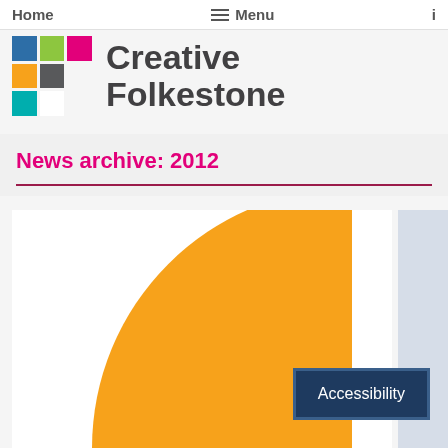Home  ≡ Menu  i
[Figure (logo): Creative Folkestone logo with colorful grid of squares (blue, green, pink, orange, gray, teal) and bold text 'Creative Folkestone']
News archive: 2012
[Figure (illustration): Large golden/amber quarter-circle shape on white background, cropped card image representing Creative Folkestone branding]
Accessibility